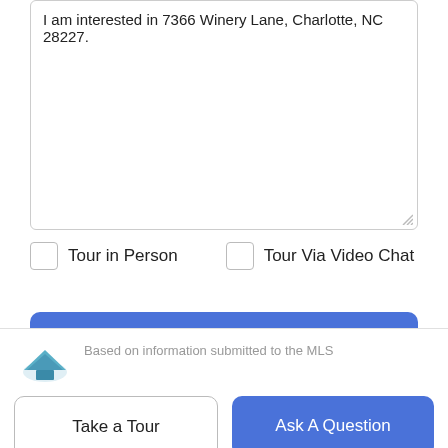I am interested in 7366 Winery Lane, Charlotte, NC 28227.
Tour in Person
Tour Via Video Chat
Submit
Disclaimer: By entering your information and submitting this form, you agree to our Terms of Use and Privacy Policy and that you may be contacted by phone, text message and email about your inquiry.
Based on information submitted to the MLS
Take a Tour
Ask A Question